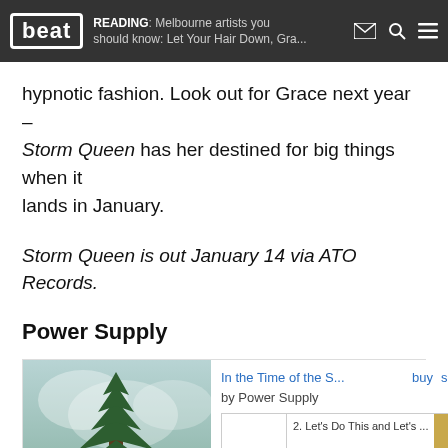beat — READING: Melbourne artists you should know: Let Your Hair Down, Gra...
hypnotic fashion. Look out for Grace next year – Storm Queen has her destined for big things when it lands in January.
Storm Queen is out January 14 via ATO Records.
Power Supply
[Figure (screenshot): Bandcamp embedded music player for Power Supply - 'In the Time of the S...' album. Shows album artwork with a tree illustration, track listing showing '2. Let's Do This and Let's ...' with time 00:00 / 03:06, play button, progress bar, and next track controls. Links for buy, share, and Bandcamp logo visible.]